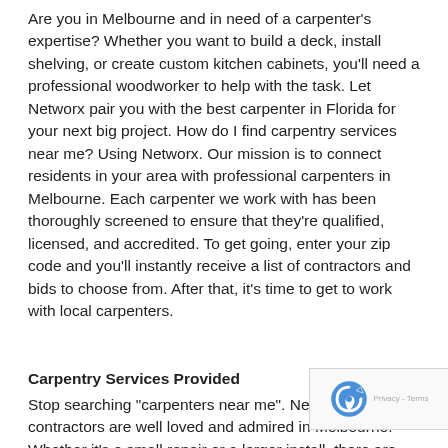Are you in Melbourne and in need of a carpenter's expertise? Whether you want to build a deck, install shelving, or create custom kitchen cabinets, you'll need a professional woodworker to help with the task. Let Networx pair you with the best carpenter in Florida for your next big project. How do I find carpentry services near me? Using Networx. Our mission is to connect residents in your area with professional carpenters in Melbourne. Each carpenter we work with has been thoroughly screened to ensure that they're qualified, licensed, and accredited. To get going, enter your zip code and you'll instantly receive a list of contractors and bids to choose from. After that, it's time to get to work with local carpenters.
Carpentry Services Provided
Stop searching "carpenters near me". Networx contractors are well loved and admired in Melbourne. Whether it's a small repair or a larger install, there are few tasks these carpenters for hire can't do. Asking, "How can I find carpenters in my area?" Connect with these handyma...